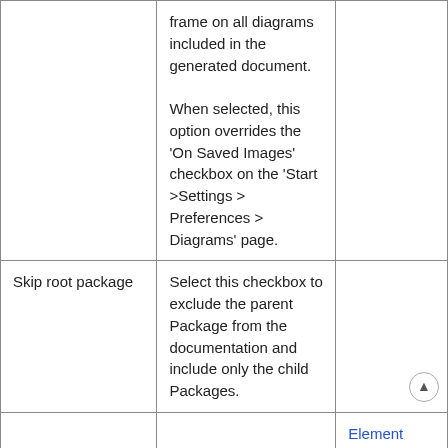|  | frame on all diagrams included in the generated document.

When selected, this option overrides the 'On Saved Images' checkbox on the 'Start >Settings > Preferences > Diagrams' page. |  |
| Skip root package | Select this checkbox to exclude the parent Package from the documentation and include only the child Packages. |  |
|  |  | Element |